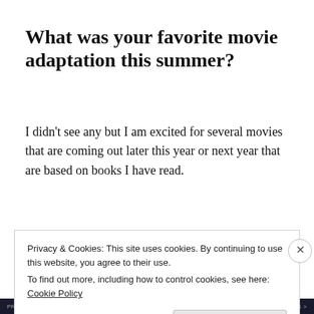What was your favorite movie adaptation this summer?
I didn’t see any but I am excited for several movies that are coming out later this year or next year that are based on books I have read.
What was your favorite new
Privacy & Cookies: This site uses cookies. By continuing to use this website, you agree to their use.
To find out more, including how to control cookies, see here: Cookie Policy
Close and accept